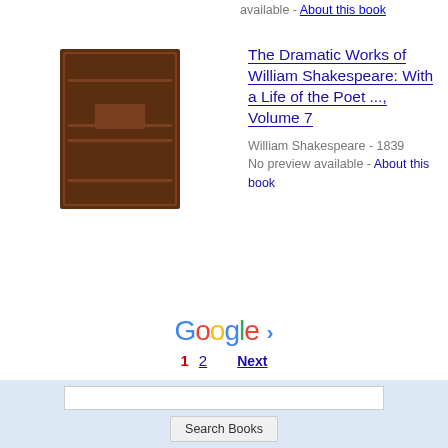available - About this book
[Figure (illustration): Brown hardcover book thumbnail for The Dramatic Works of William Shakespeare: With a Life of the Poet ..., Volume 7]
The Dramatic Works of William Shakespeare: With a Life of the Poet ..., Volume 7
William Shakespeare - 1839
No preview available - About this book
[Figure (logo): Google logo with pagination arrow]
1  2  Next